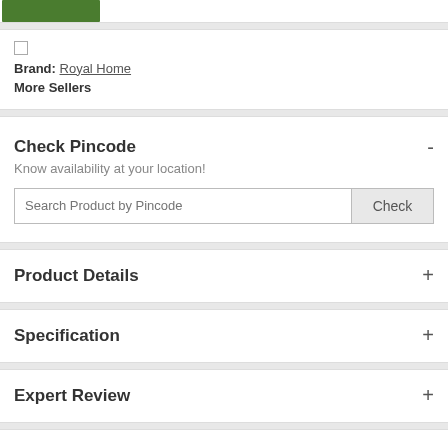[Figure (screenshot): Green banner/logo at top of product page]
Brand: Royal Home
More Sellers
Check Pincode
Know availability at your location!
Search Product by Pincode
Product Details
Specification
Expert Review
All Q&A
Similar Features